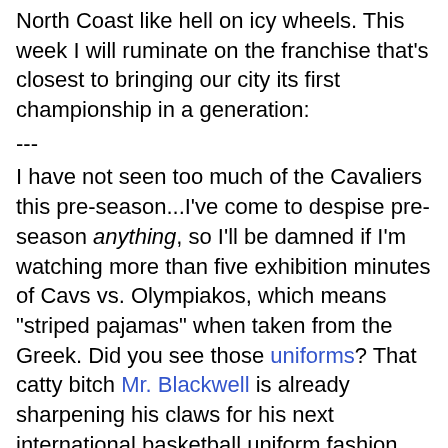North Coast like hell on icy wheels. This week I will ruminate on the franchise that's closest to bringing our city its first championship in a generation:
---
I have not seen too much of the Cavaliers this pre-season...I've come to despise pre-season anything, so I'll be damned if I'm watching more than five exhibition minutes of Cavs vs. Olympiakos, which means "striped pajamas" when taken from the Greek. Did you see those uniforms? That catty bitch Mr. Blackwell is already sharpening his claws for his next international basketball uniform fashion review, believe me. Still, I'm pumped about a fast-approaching NBA campaign that's sure to contain plenty of "LeBron-watch 2010" drama, as well as cheeky quotes from Shaq.
If that doesn't do it for you, how do you feel about a whole lot of wins and one of the top playoffs seeds in the East? Another division title, if not 66 wins, is almost a certainty. Along with acquiring the Big Man for the proverbial hill o' beans, the Cavs also strengthened their backcourt with the acquisitions of Anthony Parker and Jamario Moon. And while I don't love Andy V's new contract, I suppose I can live with it.